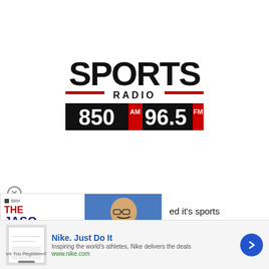[Figure (logo): Sports Radio 850 AM / 96.5 FM logo with bold black SPORTS text, RADIO in red-lined bar, and frequency numbers on black background with red AM/FM badges]
[Figure (other): The Jason Barrett Podcast promotional ad featuring Paul Finebaum Knows The Power, with photo of man in suit]
ed it's sports programming and its translators 96.5
[Figure (other): Nike advertisement: Nike. Just Do It — Inspiring the world's athletes, Nike delivers the deals — www.nike.com]